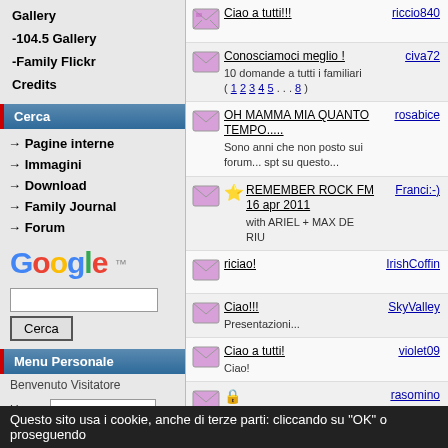Gallery
-104.5 Gallery
-Family Flickr
Credits
Cerca
→ Pagine interne
→ Immagini
→ Download
→ Family Journal
→ Forum
[Figure (logo): Google logo]
Cerca (search button)
Menu Personale
Benvenuto Visitatore
User: [input] Pass: [input] Anonimo [checkbox]
Ciao a tutti!!! - riccio840
Conosciamoci meglio ! 10 domande a tutti i familiari ( 1 2 3 4 5 . . . 8 ) - civa72
OH MAMMA MIA QUANTO TEMPO..... Sono anni che non posto sui forum... spt su questo... - rosabice
REMEMBER ROCK FM 16 apr 2011 with ARIEL + MAX DE RIU - Franci:-)
riciao! - IrishCoffin
Ciao!!! Presentazioni... - SkyValley
Ciao a tutti! Ciao! - violet09
IL ROCKER PIU' GIOVANE DEL MONDO ( 1 2 3 4 5 ) - rasomino
Un saluto a tutti ( 1 2 ) - Siberry
Toc toc.. sono l aviatore!!!!! ( 1 2 ) - l aviatore
Questo sito usa i cookie, anche di terze parti: cliccando su "OK" o proseguendo